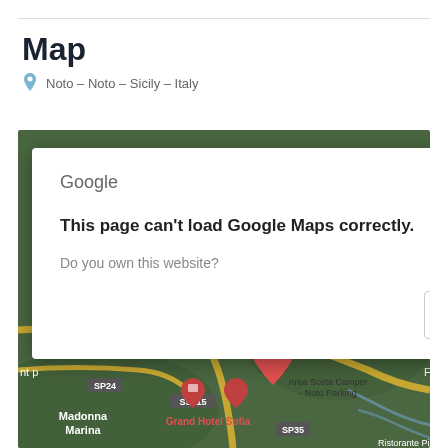Map
Noto – Noto – Sicily – Italy
[Figure (screenshot): Google Maps screenshot showing the area around Noto, Sicily, Italy. A Google Maps error dialog is overlaid on top of the map reading: 'This page can't load Google Maps correctly. Do you own this website? OK'. The map shows roads, landmarks including Noto city, Madonna Marina, Grand Hotel Sofia, Area Sosta Camper Noto Parking, and road labels SS115, E45, SP24, SP19, SP35.]